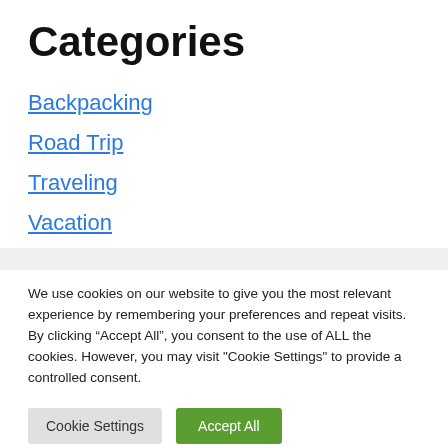Categories
Backpacking
Road Trip
Traveling
Vacation
We use cookies on our website to give you the most relevant experience by remembering your preferences and repeat visits. By clicking “Accept All”, you consent to the use of ALL the cookies. However, you may visit "Cookie Settings" to provide a controlled consent.